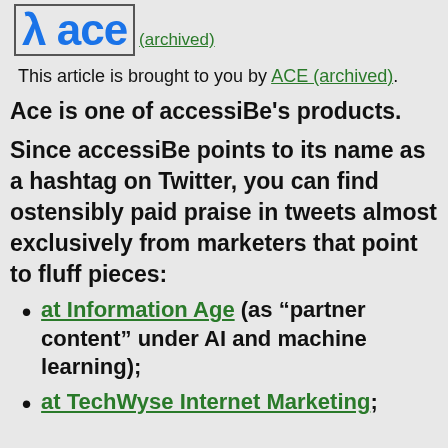[Figure (logo): ACE logo with blue stylized lambda and 'ace' text inside a bordered box, followed by '(archived)' link in green]
This article is brought to you by ACE (archived).
Ace is one of accessiBe's products.
Since accessiBe points to its name as a hashtag on Twitter, you can find ostensibly paid praise in tweets almost exclusively from marketers that point to fluff pieces:
at Information Age (as “partner content” under AI and machine learning);
at TechWyse Internet Marketing;